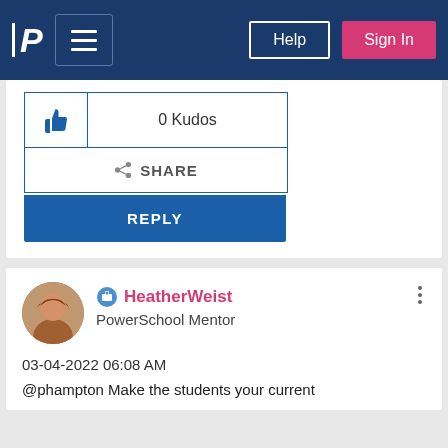PowerSchool Community navigation bar with Help and Sign In buttons
[Figure (screenshot): Kudos thumbs-up button showing 0 Kudos]
0 Kudos
SHARE
REPLY
HeatherWeist
PowerSchool Mentor
03-04-2022 06:08 AM
@phampton  Make the students your current